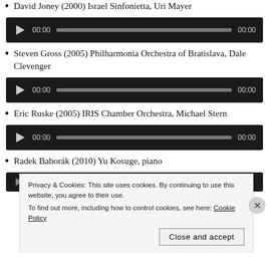David Joney (2000) Israel Sinfonietta, Uri Mayer
[Figure (screenshot): Audio player widget with play button, 00:00 time display, progress bar, and 00:00 end time on dark background]
Steven Gross (2005) Philharmonia Orchestra of Bratislava, Dale Clevenger
[Figure (screenshot): Audio player widget with play button, 00:00 time display, progress bar, and 00:00 end time on dark background]
Eric Ruske (2005) IRIS Chamber Orchestra, Michael Stern
[Figure (screenshot): Audio player widget with play button, 00:00 time display, progress bar, and 00:00 end time on dark background]
Radek Baborák (2010) Yu Kosuge, piano
[Figure (screenshot): Partially visible audio player widget on dark background]
Privacy & Cookies: This site uses cookies. By continuing to use this website, you agree to their use.
To find out more, including how to control cookies, see here: Cookie Policy
Close and accept